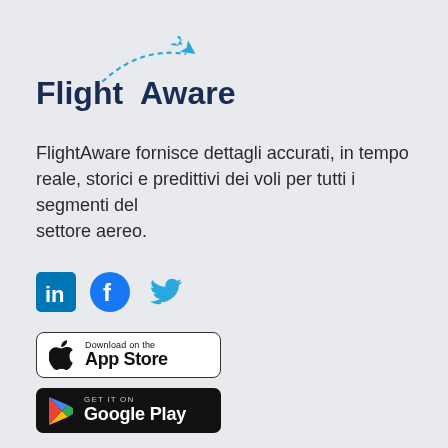[Figure (logo): FlightAware logo with airplane and dashed flight path arc, text 'FlightAware' in dark navy]
FlightAware fornisce dettagli accurati, in tempo reale, storici e predittivi dei voli per tutti i segmenti del settore aereo.
[Figure (infographic): Social media icons: LinkedIn (blue square with 'in'), Facebook (blue circle with 'f'), Twitter (blue bird icon)]
[Figure (other): Download on the App Store badge - white background with black border, Apple logo and text]
[Figure (other): Get it on Google Play badge - black background with colorful Play triangle and white text]